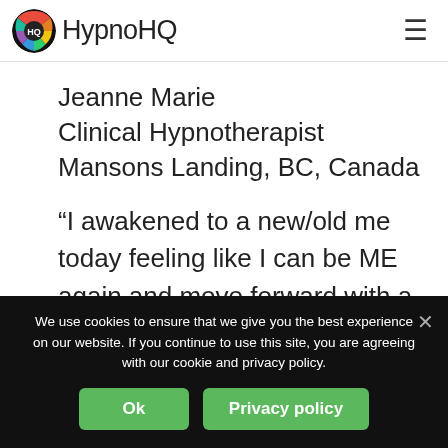HypnoHQ
Jeanne Marie
Clinical Hypnotherapist
Mansons Landing, BC, Canada
“I awakened to a new/old me today feeling like I can be ME again and move forward with a clearer path. It was amazing to experience
We use cookies to ensure that we give you the best experience on our website. If you continue to use this site, you are agreeing with our cookie and privacy policy.